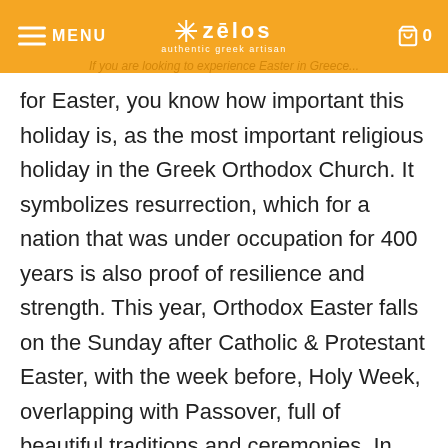MENU  ❊ zēlos authentic greek artisan  0
for Easter, you know how important this holiday is, as the most important religious holiday in the Greek Orthodox Church. It symbolizes resurrection, which for a nation that was under occupation for 400 years is also proof of resilience and strength. This year, Orthodox Easter falls on the Sunday after Catholic & Protestant Easter, with the week before, Holy Week, overlapping with Passover, full of beautiful traditions and ceremonies. In fact, the Greek word for Easter and Passover are the same, "Pasha -